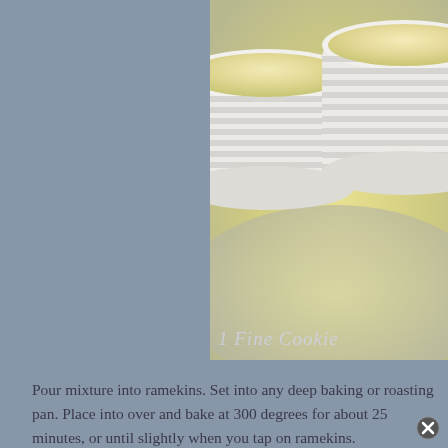[Figure (photo): Two white ribbed ramekins filled with pale yellow custard, sitting on a round tray. Photographed from close up. Watermark text '1 Fine Cookie' in cursive at bottom left of image.]
Pour mixture into ramekins. Set into any deep baking or roasting pan. Place into over and bake at 300 degrees for about 25 minutes, or until slightly when you tap on ramekins.
Remove from water and allow to cool.
Use a small spatula or knife to spread the custard into each raspberry. to torch and consume.